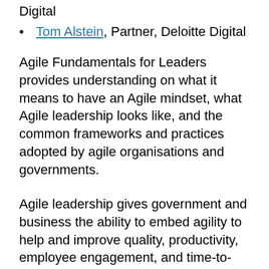Digital
Tom Alstein, Partner, Deloitte Digital
Agile Fundamentals for Leaders provides understanding on what it means to have an Agile mindset, what Agile leadership looks like, and the common frameworks and practices adopted by agile organisations and governments.
Agile leadership gives government and business the ability to embed agility to help and improve quality, productivity, employee engagement, and time-to-market. An agile mindset helps us become more nimble and responsive in an increasingly volatile and changing market.